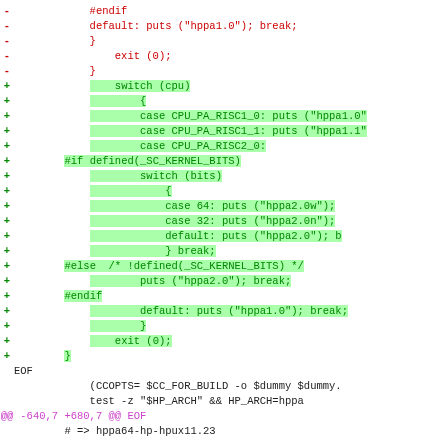[Figure (screenshot): A unified diff / patch code block showing removal of old hppa architecture detection code (red lines) and addition of new code using switch(cpu) and switch(bits) (green lines with green highlight). Also shows context lines including EOF, shell commands, and a diff hunk header.]